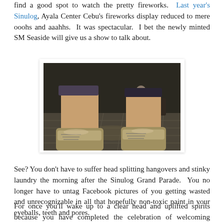find a good spot to watch the pretty fireworks. Last year's Sinulog, Ayala Center Cebu's fireworks display reduced to mere ooohs and aaahhs. It was spectacular. I bet the newly minted SM Seaside will give us a show to talk about.
[Figure (photo): Low-angle photo of two feet wearing metallic/gold sneakers on a tiled outdoor plaza at night, with people visible in the background]
See? You don't have to suffer head splitting hangovers and stinky laundry the morning after the Sinulog Grand Parade. You no longer have to untag Facebook pictures of you getting wasted and unrecognizable in all that hopefully non-toxic paint in your eyeballs, teeth and pores.
For once you'll wake up to a clear head and uplifted spirits because you have completed the celebration of welcoming something new. Almost 500 years ago, we embraced the